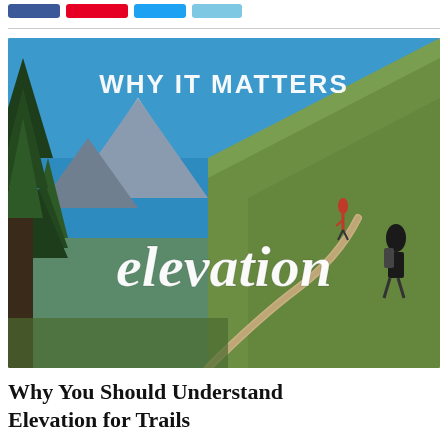[Social share buttons: Facebook, Pinterest, Twitter, YouTube]
[Figure (photo): Outdoor mountain trail photo with two hikers walking up a steep grassy hillside. Snow-capped mountain and blue sky in background with evergreen trees. Text overlay reads 'WHY IT MATTERS' at top in white sans-serif capitals, and 'elevation' in large white handwritten/script font in the lower center.]
Why You Should Understand Elevation for Trails